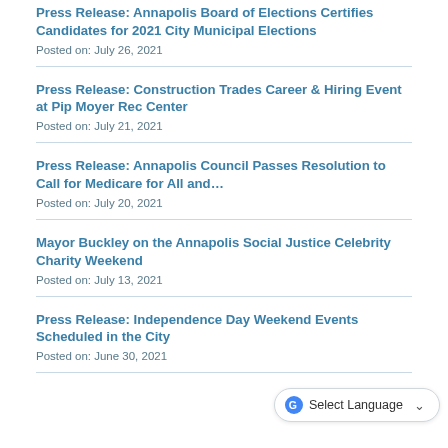Press Release: Annapolis Board of Elections Certifies Candidates for 2021 City Municipal Elections
Posted on: July 26, 2021
Press Release: Construction Trades Career & Hiring Event at Pip Moyer Rec Center
Posted on: July 21, 2021
Press Release: Annapolis Council Passes Resolution to Call for Medicare for All and…
Posted on: July 20, 2021
Mayor Buckley on the Annapolis Social Justice Celebrity Charity Weekend
Posted on: July 13, 2021
Press Release: Independence Day Weekend Events Scheduled in the City
Posted on: June 30, 2021